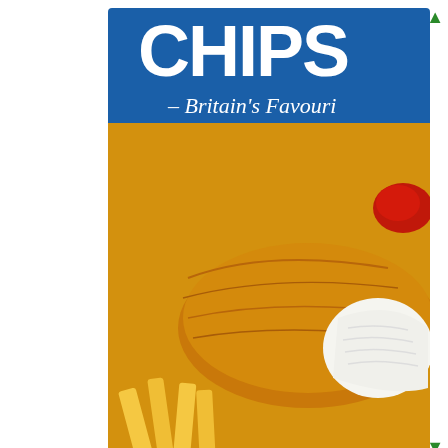[Figure (photo): Product packaging photo of 'CHIPS' (partially visible, likely 'CHIPSY' or similar brand) - Britain's Favourite fish and chips frozen food product. Shows crispy battered fish fillet with chips (french fries) and a portion of ketchup. A yellow nutritional badge displays '223 CALORIES PER FILLET'. Below that is a nutrition information panel showing Energy 930kJ/225kcal, Fat 13.6g (19%), Saturates 2.4g (12%), Sugars 0.5g (<1%), Salt 0.9g (15%). Includes 'fish for life' sustainability logo. Text at bottom: 'of the reference intake. Typical energy values per 100g: 935kJ/224kcal'. Blue packaging background with white lettering and italic script '-Britain's Favourit' visible at top.]